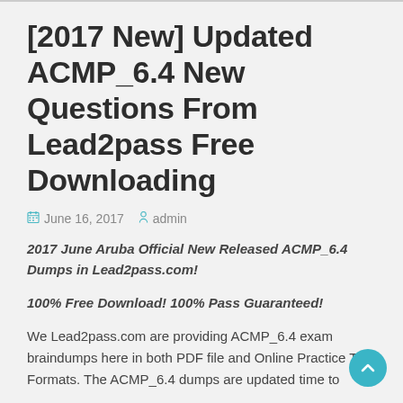[2017 New] Updated ACMP_6.4 New Questions From Lead2pass Free Downloading
June 16, 2017   admin
2017 June Aruba Official New Released ACMP_6.4 Dumps in Lead2pass.com!
100% Free Download! 100% Pass Guaranteed!
We Lead2pass.com are providing ACMP_6.4 exam braindumps here in both PDF file and Online Practice Test Formats. The ACMP_6.4 dumps are updated time to